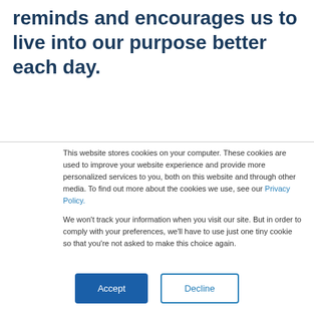reminds and encourages us to live into our purpose better each day.
This website stores cookies on your computer. These cookies are used to improve your website experience and provide more personalized services to you, both on this website and through other media. To find out more about the cookies we use, see our Privacy Policy.
We won't track your information when you visit our site. But in order to comply with your preferences, we'll have to use just one tiny cookie so that you're not asked to make this choice again.